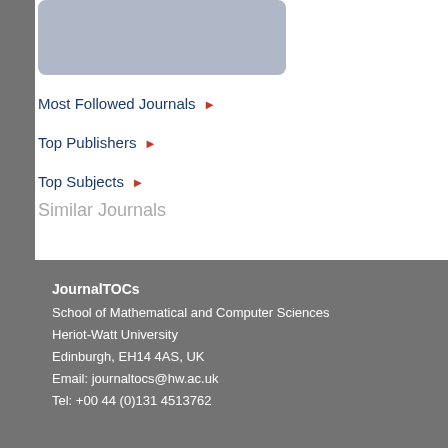[Figure (other): Rounded rectangle image placeholder with light blue-grey fill at top of page]
Most Followed Journals ▶
Top Publishers ▶
Top Subjects ▶
Similar Journals
JournalTOCs
School of Mathematical and Computer Sciences
Heriot-Watt University
Edinburgh, EH14 4AS, UK
Email: journaltocs@hw.ac.uk
Tel: +00 44 (0)131 4513762